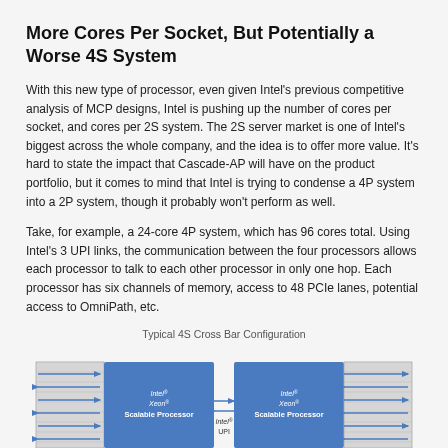More Cores Per Socket, But Potentially a Worse 4S System
With this new type of processor, even given Intel's previous competitive analysis of MCP designs, Intel is pushing up the number of cores per socket, and cores per 2S system. The 2S server market is one of Intel's biggest across the whole company, and the idea is to offer more value. It's hard to state the impact that Cascade-AP will have on the product portfolio, but it comes to mind that Intel is trying to condense a 4P system into a 2P system, though it probably won't perform as well.
Take, for example, a 24-core 4P system, which has 96 cores total. Using Intel's 3 UPI links, the communication between the four processors allows each processor to talk to each other processor in only one hop. Each processor has six channels of memory, access to 48 PCIe lanes, potential access to OmniPath, etc.
Typical 4S Cross Bar Configuration
[Figure (schematic): Diagram showing a Typical 4S Cross Bar Configuration with two Intel Xeon Scalable Processor blocks connected via Intel UPI, with memory/IO arrows on left and right sides, and PCIe/other connections below.]